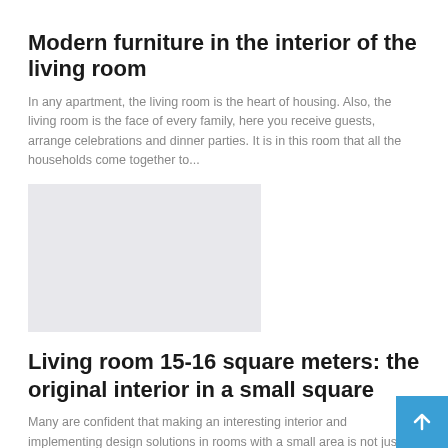Modern furniture in the interior of the living room
In any apartment, the living room is the heart of housing. Also, the living room is the face of every family, here you receive guests, arrange celebrations and dinner parties. It is in this room that all the households come together to...
[Figure (photo): Gray placeholder image for a living room furniture article]
Living room 15-16 square meters: the original interior in a small square
Many are confident that making an interesting interior and implementing design solutions in rooms with a small area is not just difficult, but impossible. It is worth noting that this is an erroneous opinion. Yes, to...